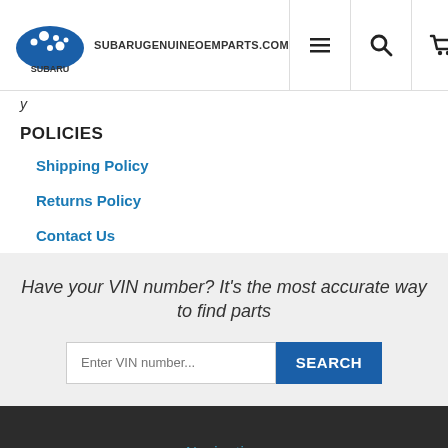SUBARU SUBARUGENUINEOEMPARTS.COM
y
POLICIES
Shipping Policy
Returns Policy
Contact Us
Have your VIN number? It's the most accurate way to find parts
Enter VIN number... SEARCH
Navigation